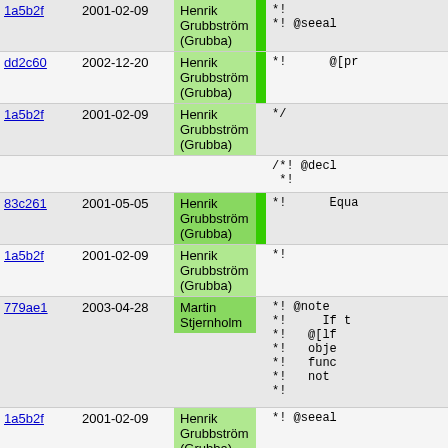| hash | date | author |  | code |
| --- | --- | --- | --- | --- |
| 1a5b2f | 2001-02-09 | Henrik Grubbström (Grubba) |  | *!
*! @seeal |
| dd2c60 | 2002-12-20 | Henrik Grubbström (Grubba) |  | *!      @[pr |
| 1a5b2f | 2001-02-09 | Henrik Grubbström (Grubba) |  | */ |
|  |  |  |  | /*! @decl
 *! |
| 83c261 | 2001-05-05 | Henrik Grubbström (Grubba) |  | *!      Equa |
| 1a5b2f | 2001-02-09 | Henrik Grubbström (Grubba) |  | *! |
| 779ae1 | 2003-04-28 | Martin Stjernholm |  | *! @note
*!     If t
*!   @[lf
*!   obje
*!   func
*!   not
*! |
| 1a5b2f | 2001-02-09 | Henrik Grubbström (Grubba) |  | *! @seeal |
| 779ae1 | 2003-04-28 | Martin Stjernholm |  | *!      @[pr |
| 1a5b2f | 2001-02-09 | Henrik Grubbström (Grubba) |  | */ |
|  |  |  |  | /*! @decl
 *! |
| 83c261 | 2001-05-05 | Henrik Grubbström (Grubba) |  | *!      Less |